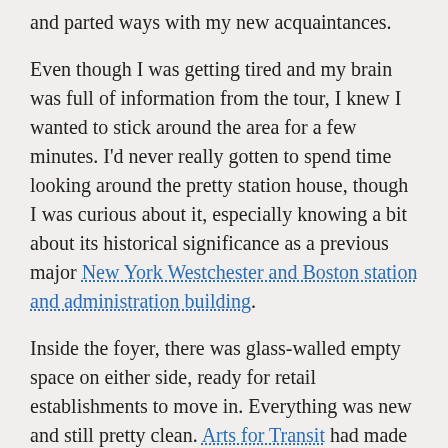and parted ways with my new acquaintances.
Even though I was getting tired and my brain was full of information from the tour, I knew I wanted to stick around the area for a few minutes. I'd never really gotten to spend time looking around the pretty station house, though I was curious about it, especially knowing a bit about its historical significance as a previous major New York Westchester and Boston station and administration building.
Inside the foyer, there was glass-walled empty space on either side, ready for retail establishments to move in. Everything was new and still pretty clean. Arts for Transit had made its mark here, in colorful mosaics above the doorways and elsewhere.